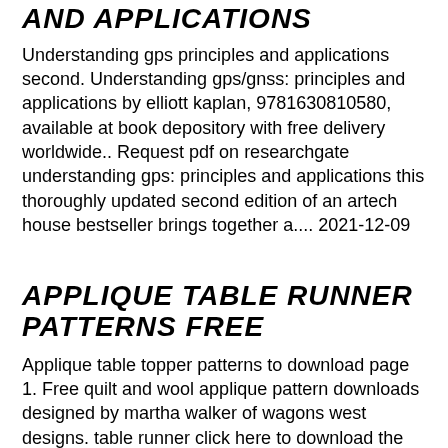AND APPLICATIONS
Understanding gps principles and applications second. Understanding gps/gnss: principles and applications by elliott kaplan, 9781630810580, available at book depository with free delivery worldwide.. Request pdf on researchgate understanding gps: principles and applications this thoroughly updated second edition of an artech house bestseller brings together a.... 2021-12-09
APPLIQUE TABLE RUNNER PATTERNS FREE
Applique table topper patterns to download page 1. Free quilt and wool applique pattern downloads designed by martha walker of wagons west designs. table runner click here to download the free pattern pdf.. Quilted table runners add elegance to your dining room table or your coffee table at any time during the year.